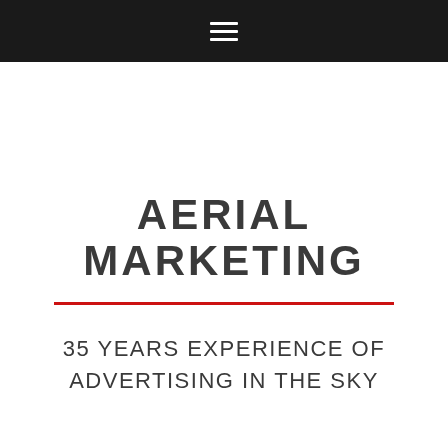☰ (navigation menu icon)
AERIAL MARKETING
35 YEARS EXPERIENCE OF ADVERTISING IN THE SKY